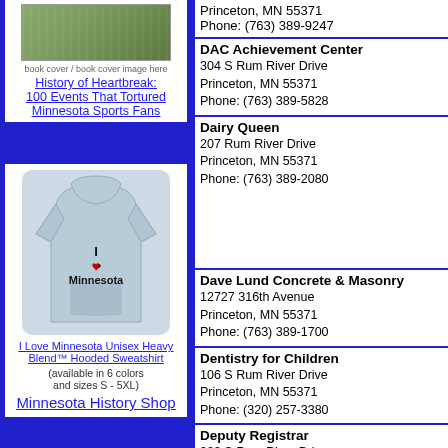[Figure (photo): Book cover image for History of Heartbreak: 100 Events That Tortured Minnesota Sports Fans]
History of Heartbreak: 100 Events That Tortured Minnesota Sports Fans
[Figure (photo): I Love Minnesota Unisex Heavy Blend Hooded Sweatshirt - light blue hoodie with I heart Minnesota text]
I Love Minnesota Unisex Heavy Blend™ Hooded Sweatshirt
(available in 6 colors and sizes S - 5XL)
Minnesota History Shop
Princeton, MN 55371
Phone: (763) 389-9247
DAC Achievement Center
304 S Rum River Drive
Princeton, MN 55371
Phone: (763) 389-5828
Dairy Queen
207 Rum River Drive
Princeton, MN 55371
Phone: (763) 389-2080
Dave Lund Concrete & Masonry
12727 316th Avenue
Princeton, MN 55371
Phone: (763) 389-1700
Dentistry for Children
106 S Rum River Drive
Princeton, MN 55371
Phone: (320) 257-3380
Deputy Registrar
209 S Rum River Drive
Princeton, MN 55371
Phone: (763) 389-4353
Diamondhead Jewelers